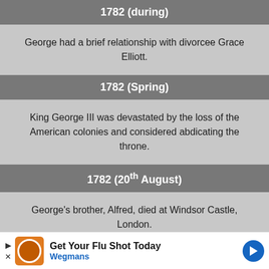1782 (during)
George had a brief relationship with divorcee Grace Elliott.
1782 (Spring)
King George III was devastated by the loss of the American colonies and considered abdicating the throne.
1782 (20th August)
George's brother, Alfred, died at Windsor Castle, London.
1783 (3rd May)
Get Your Flu Shot Today Wegmans